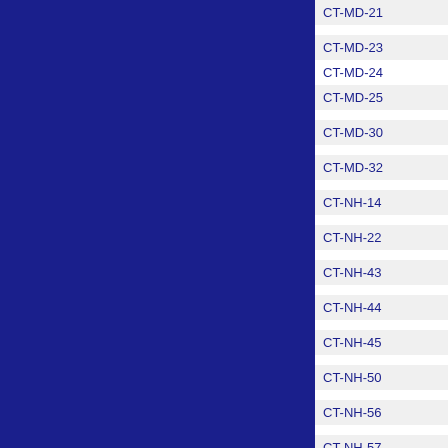| ID | Date/Time | Value | Num |
| --- | --- | --- | --- |
| CT-MD-21 | 2022-01-13 12:00 | 0.000 | 24 |
| CT-MD-23 | 2022-01-13 13:00 | 0.000 | 24 |
| CT-MD-24 | 2022-01-13 12:00 | 0.000 | 24 |
| CT-MD-25 | 2022-01-13 12:00 | 0.000 | 24 |
| CT-MD-30 | 2022-01-13 12:00 | 0.000 | 24 |
| CT-MD-32 | 2022-01-13 12:00 | 0.000 | 24 |
| CT-NH-14 | 2022-01-13 12:00 | 0.000 | 24 |
| CT-NH-22 | 2022-01-13 13:00 | 0.000 | 24 |
| CT-NH-43 | 2022-01-13 15:00 | 0.000 | 24 |
| CT-NH-44 | 2022-01-13 12:00 | 0.000 | 24 |
| CT-NH-45 | 2022-01-13 11:30 | 0.000 | 24 |
| CT-NH-50 | 2022-01-13 12:00 | 0.000 | 24 |
| CT-NH-56 | 2022-01-13 13:30 | 0.000 | 24 |
| CT-NH-57 | 2022-01-13 12:00 | 0.000 | 24 |
| CT-NH-67 | 2022-01-13 12:00 | 0.000 | 24 |
| CT-NH-72 | 2022-01-13 12:00 | 0.000 | 24 |